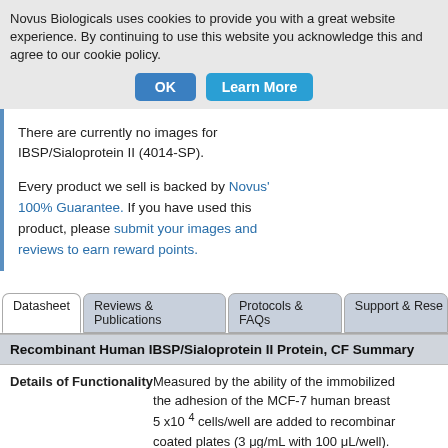Novus Biologicals uses cookies to provide you with a great website experience. By continuing to use this website you acknowledge this and agree to our cookie policy.
OK | Learn More
There are currently no images for IBSP/Sialoprotein II (4014-SP).
Every product we sell is backed by Novus' 100% Guarantee. If you have used this product, please submit your images and reviews to earn reward points.
Datasheet | Reviews & Publications | Protocols & FAQs | Support & Rese...
Recombinant Human IBSP/Sialoprotein II Protein, CF Summary
Details of Functionality
Measured by the ability of the immobilized the adhesion of the MCF-7 human breast 5 x10^4 cells/well are added to recombinar coated plates (3 μg/mL with 100 μL/well).